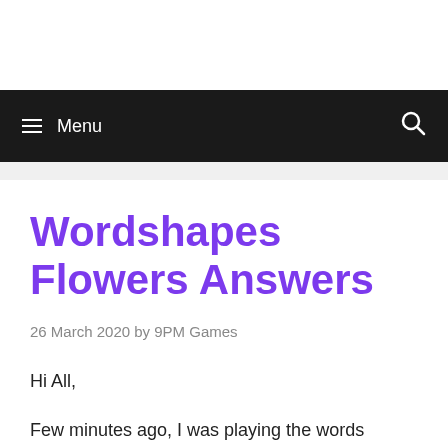Menu
Wordshapes Flowers Answers
26 March 2020 by 9PM Games
Hi All,
Few minutes ago, I was playing the words related to the theme Flowers of the game